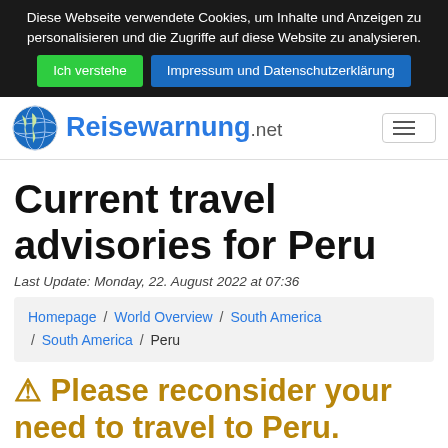Diese Webseite verwendete Cookies, um Inhalte und Anzeigen zu personalisieren und die Zugriffe auf diese Website zu analysieren.
Ich verstehe | Impressum und Datenschutzerklärung
Reisewarnung.net
Current travel advisories for Peru
Last Update: Monday, 22. August 2022 at 07:36
Homepage / World Overview / South America / South America / Peru
⚠ Please reconsider your need to travel to Peru.
Anzeige